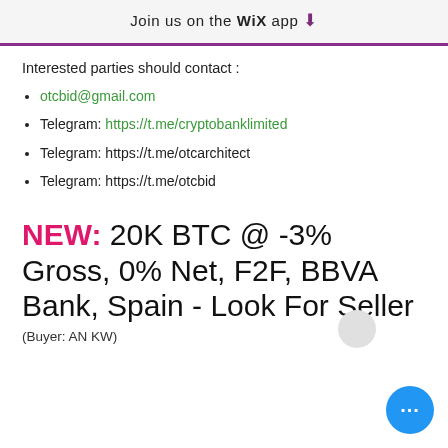Join us on the WiX app ↓
Interested parties should contact :
otcbid@gmail.com
Telegram: https://t.me/cryptobanklimited
Telegram: https://t.me/otcarchitect
Telegram: https://t.me/otcbid
NEW: 20K BTC @ -3% Gross, 0% Net, F2F, BBVA Bank, Spain - Look For Seller
(Buyer: AN KW)